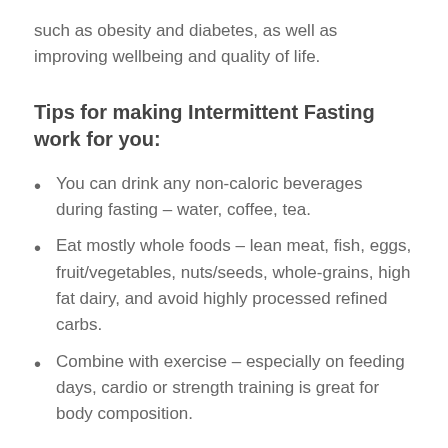such as obesity and diabetes, as well as improving wellbeing and quality of life.
Tips for making Intermittent Fasting work for you:
You can drink any non-caloric beverages during fasting – water, coffee, tea.
Eat mostly whole foods – lean meat, fish, eggs, fruit/vegetables, nuts/seeds, whole-grains, high fat dairy, and avoid highly processed refined carbs.
Combine with exercise – especially on feeding days, cardio or strength training is great for body composition.